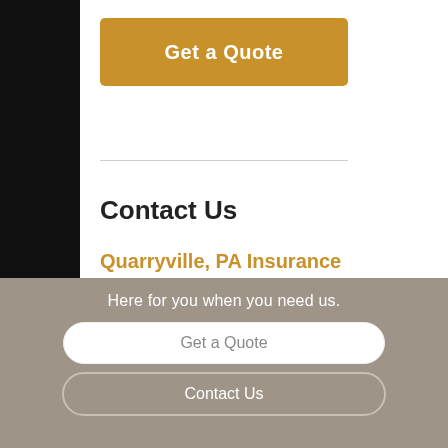Get a Quote
Contact Us
Quarryville, PA Insurance
13 South Lime Street
Quarryville, PA 17566
Follow Us on Social Media
Here for you when you need us.
Get a Quote
Contact Us